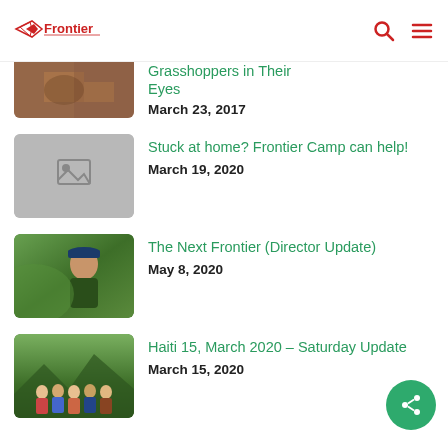Frontier Camp — navigation header with logo, search, and menu icons
[Figure (photo): Partially visible thumbnail of rock/desert scene (cropped at top)]
Grasshoppers in Their Eyes
March 23, 2017
[Figure (photo): Image placeholder (grey box with image icon)]
Stuck at home? Frontier Camp can help!
March 19, 2020
[Figure (photo): Thumbnail photo of a young person outdoors in green jacket and cap]
The Next Frontier (Director Update)
May 8, 2020
[Figure (photo): Thumbnail photo of a group of people on a trail in Haiti]
Haiti 15, March 2020 – Saturday Update
March 15, 2020